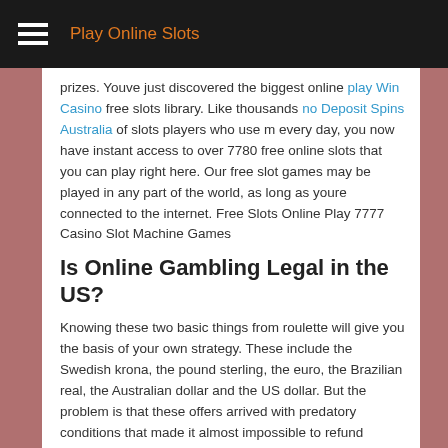Play Online Slots
prizes. Youve just discovered the biggest online play Win Casino free slots library. Like thousands no Deposit Spins Australia of slots players who use m every day, you now have instant access to over 7780 free online slots that you can play right here. Our free slot games may be played in any part of the world, as long as youre connected to the internet. Free Slots Online Play 7777 Casino Slot Machine Games
Is Online Gambling Legal in the US?
Knowing these two basic things from roulette will give you the basis of your own strategy. These include the Swedish krona, the pound sterling, the euro, the Brazilian real, the Australian dollar and the US dollar. But the problem is that these offers arrived with predatory conditions that made it almost impossible to refund bonuses. Basically, this cryptocurrency allows players to play online; Customers can find bitcoins online or with cash, and they can spend their bitcoins without the transactions being traced. On the number of players who